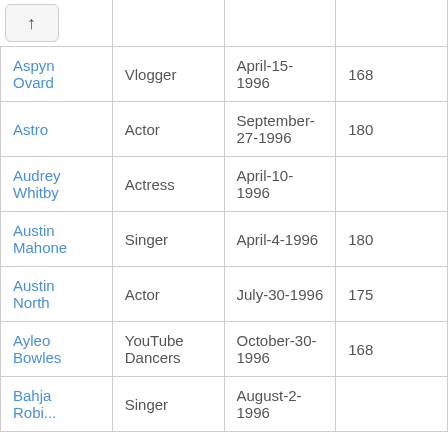| Name | Profession | Date of Birth | Height |
| --- | --- | --- | --- |
| Aspyn Ovard | Vlogger | April-15-1996 | 168 |
| Astro | Actor | September-27-1996 | 180 |
| Audrey Whitby | Actress | April-10-1996 |  |
| Austin Mahone | Singer | April-4-1996 | 180 |
| Austin North | Actor | July-30-1996 | 175 |
| Ayleo Bowles | YouTube Dancers | October-30-1996 | 168 |
| Bahja Robinson | Singer | August-2-1996 |  |